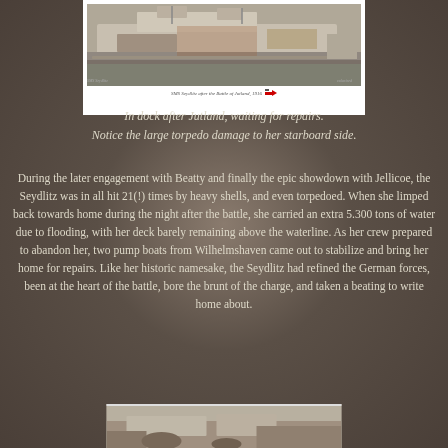[Figure (photo): Black and white photograph of SMS Seydlitz in dock after the Battle of Jutland, 1916, showing torpedo damage to starboard side]
In dock after Jutland, waiting for repairs.
Notice the large torpedo damage to her starboard side.
During the later engagement with Beatty and finally the epic showdown with Jellicoe, the Seydlitz was in all hit 21(!) times by heavy shells, and even torpedoed. When she limped back towards home during the night after the battle, she carried an extra 5.300 tons of water due to flooding, with her deck barely remaining above the waterline. As her crew prepared to abandon her, two pump boats from Wilhelmshaven came out to stabilize and bring her home for repairs. Like her historic namesake, the Seydlitz had refined the German forces, been at the heart of the battle, bore the brunt of the charge, and taken a beating to write home about.
[Figure (photo): Partial view of another historical photograph at the bottom of the page]